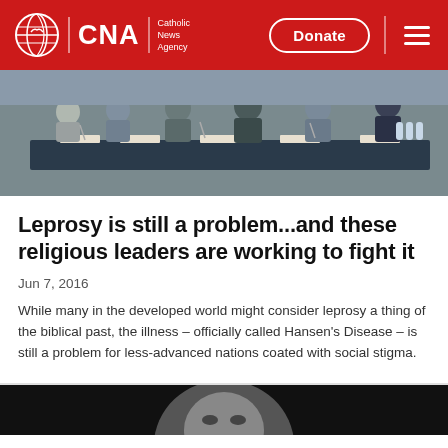CNA Catholic News Agency — Donate
[Figure (photo): Panel of religious and community leaders seated at a long conference table with microphones and nameplates]
Leprosy is still a problem...and these religious leaders are working to fight it
Jun 7, 2016
While many in the developed world might consider leprosy a thing of the biblical past, the illness – officially called Hansen's Disease – is still a problem for less-advanced nations coated with social stigma.
[Figure (photo): Black and white photo, partially visible at bottom of page]